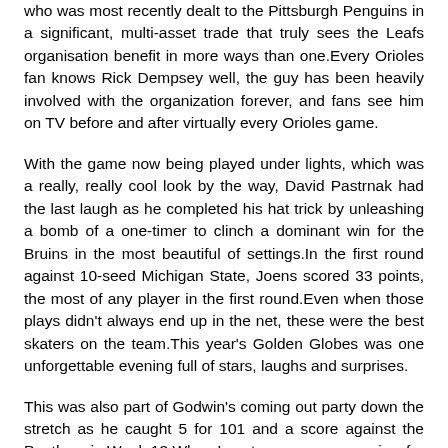who was most recently dealt to the Pittsburgh Penguins in a significant, multi-asset trade that truly sees the Leafs organisation benefit in more ways than one.Every Orioles fan knows Rick Dempsey well, the guy has been heavily involved with the organization forever, and fans see him on TV before and after virtually every Orioles game.
With the game now being played under lights, which was a really, really cool look by the way, David Pastrnak had the last laugh as he completed his hat trick by unleashing a bomb of a one-timer to clinch a dominant win for the Bruins in the most beautiful of settings.In the first round against 10-seed Michigan State, Joens scored 33 points, the most of any player in the first round.Even when those plays didn't always end up in the net, these were the best skaters on the team.This year's Golden Globes was one unforgettable evening full of stars, laughs and surprises.
This was also part of Godwin's coming out party down the stretch as he caught 5 for 101 and a score against the Panthers in Week 13.When I wrote my season preview for each team in December, I dreaded having to come up with something for the